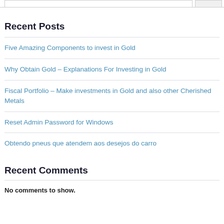Recent Posts
Five Amazing Components to invest in Gold
Why Obtain Gold – Explanations For Investing in Gold
Fiscal Portfolio – Make investments in Gold and also other Cherished Metals
Reset Admin Password for Windows
Obtendo pneus que atendem aos desejos do carro
Recent Comments
No comments to show.